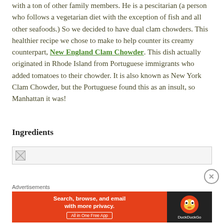with a ton of other family members.  He is a  pescitarian (a person who follows a vegetarian diet with the exception of fish and all other seafoods.) So we decided to have dual clam chowders. This healthier recipe we chose to make to help counter its creamy counterpart, New England Clam Chowder.  This dish actually originated in Rhode Island from Portuguese immigrants who added tomatoes to their chowder.  It is also known as New York Clam Chowder, but the Portuguese found this as an insult, so Manhattan it was!
Ingredients
[Figure (other): Broken image placeholder box]
Advertisements
[Figure (screenshot): DuckDuckGo advertisement banner: Search, browse, and email with more privacy. All in One Free App]